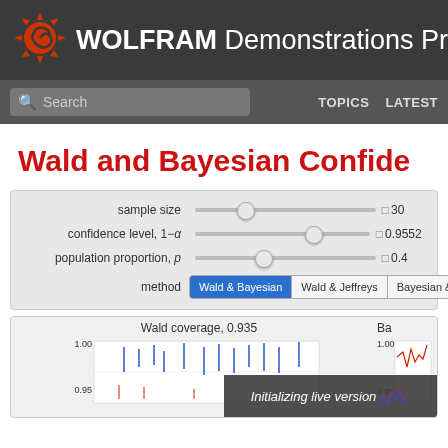WOLFRAM Demonstrations Pr
Wald and Bayesian Confide
[Figure (screenshot): Interactive controls panel with sliders for sample size (30), confidence level 1-alpha (0.9552), population proportion p (0.4), and method selector buttons: Wald & Bayesian (active/blue), Wald & Jeffreys, Bayesian & Jeffreys]
[Figure (screenshot): Chart area showing 'Wald coverage, 0.935' with a bar/line chart showing values around 0.95-1.00 range with blue markers, and partial view of second chart on right. Overlay text: 'Initializing live version']